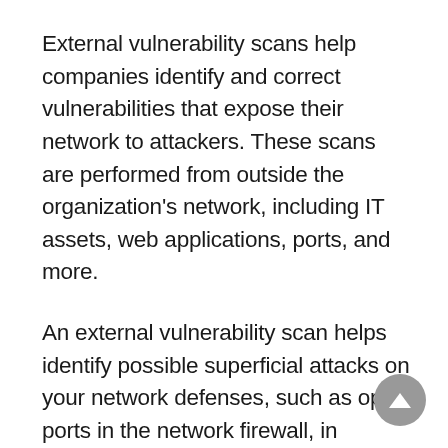External vulnerability scans help companies identify and correct vulnerabilities that expose their network to attackers. These scans are performed from outside the organization's network, including IT assets, web applications, ports, and more.
An external vulnerability scan helps identify possible superficial attacks on your network defenses, such as open ports in the network firewall, in addition to improving the security of web applications.
Additionally, the adoption of the cloud has fueled the need for external vulnerability